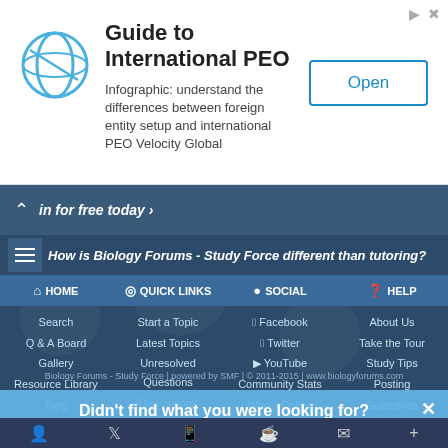[Figure (infographic): Advertisement banner for Guide to International PEO with logo, description text and Open button]
Guide to International PEO
Infographic: understand the differences between foreign entity setup and international PEO Velocity Global
in for free today ›
How is Biology Forums - Study Force different than tutoring?
HOME - Search, Q & A Board, Gallery, Resource Library, Blog, Dictionary, Chat
QUICK LINKS - Start a Topic, Latest Topics, Unresolved Questions, Discussions, Trending, My Flashcards, Browse by Textbook
SOCIAL - Facebook, Twitter, YouTube, Community Stats, Who's Online, Staff
HELP - About Us, Take the Tour, Study Tips, Posting Guidelines, Terms and Policies, Contact Us
Didn't find what you were looking for?
Ask a question